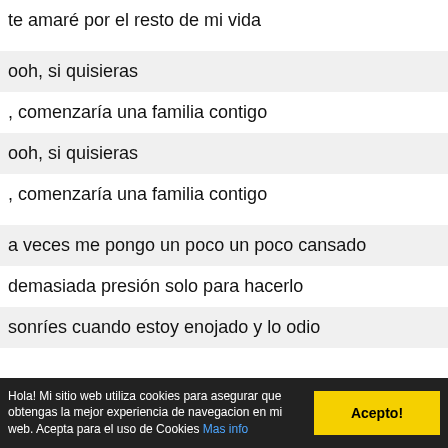te amaré por el resto de mi vida
ooh, si quisieras
, comenzaría una familia contigo
ooh, si quisieras
, comenzaría una familia contigo
a veces me pongo un poco un poco cansado
demasiada presión solo para hacerlo
sonríes cuando estoy enojado y lo odio
pero aún te amaré por el resto de mi vida
y mi enamoramiento por ti nunca se ha desvanecido
Hola! Mi sitio web utiliza cookies para asegurar que obtengas la mejor experiencia de navegacion en mi web. Acepta para el uso de Cookies Mas info